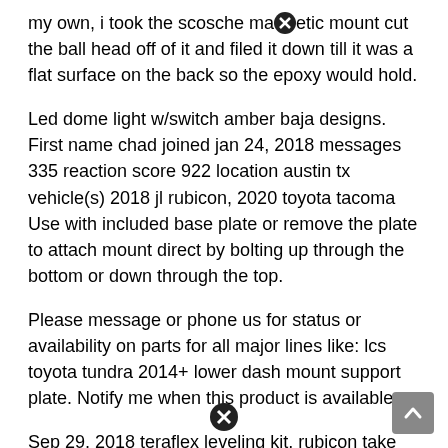my own, i took the scosche magnetic mount cut the ball head off of it and filed it down till it was a flat surface on the back so the epoxy would hold.
Led dome light w/switch amber baja designs. First name chad joined jan 24, 2018 messages 335 reaction score 922 location austin tx vehicle(s) 2018 jl rubicon, 2020 toyota tacoma Use with included base plate or remove the plate to attach mount direct by bolting up through the bottom or down through the top.
Please message or phone us for status or availability on parts for all major lines like: lcs toyota tundra 2014+ lower dash mount support plate. Notify me when this product is available:
Sep 29, 2018 teraflex leveling kit, rubicon take off wheels and tires, fox shocks, installed uconnect 8.4, alien sunshade front and back. Ps 67 designs does have an ipad mini4 mount last edited: ( / ) add to cart.